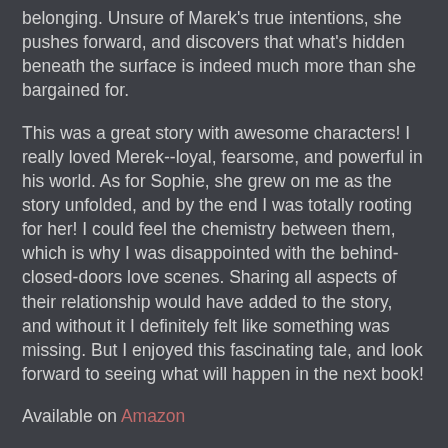belonging. Unsure of Marek's true intentions, she pushes forward, and discovers that what's hidden beneath the surface is indeed much more than she bargained for.
This was a great story with awesome characters! I really loved Merek--loyal, fearsome, and powerful in his world. As for Sophie, she grew on me as the story unfolded, and by the end I was totally rooting for her! I could feel the chemistry between them, which is why I was disappointed with the behind-closed-doors love scenes. Sharing all aspects of their relationship would have added to the story, and without it I definitely felt like something was missing. But I enjoyed this fascinating tale, and look forward to seeing what will happen in the next book!
Available on Amazon